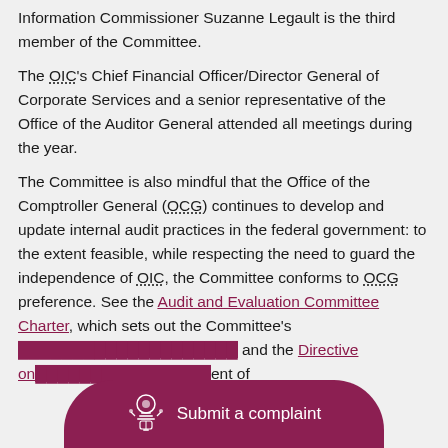Information Commissioner Suzanne Legault is the third member of the Committee.
The OIC's Chief Financial Officer/Director General of Corporate Services and a senior representative of the Office of the Auditor General attended all meetings during the year.
The Committee is also mindful that the Office of the Comptroller General (OCG) continues to develop and update internal audit practices in the federal government: to the extent feasible, while respecting the need to guard the independence of OIC, the Committee conforms to OCG preference. See the Audit and Evaluation Committee Charter, which sets out the Committee's [text obscured] and the Directive on [text obscured] ent of
[Figure (other): A dark magenta/maroon pill-shaped overlay bar at the bottom of the page with a Canadian coat of arms icon on the left and the text 'Submit a complaint' in white.]